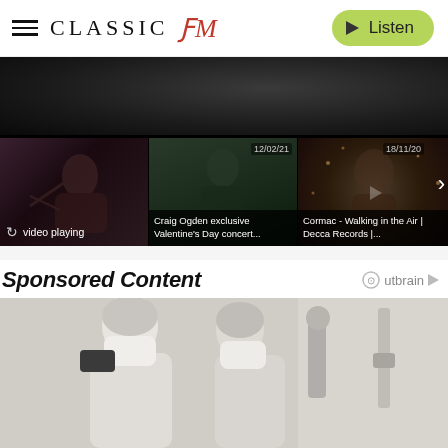CLASSIC FM — Listen button
[Figure (screenshot): Video player section showing a dark blurred video playing at the top, with three video thumbnails below. Thumbnail 1 shows a woman playing violin with 'video playing' label. Thumbnail 2 dated 12/02/21 shows Craig Ogden with title 'Craig Ogden exclusive Valentine's Day concert...'. Thumbnail 3 dated 18/11/20 shows Cormac with title 'Cormac - Walking in the Air | Decca Records |...' with a right chevron arrow.]
Sponsored Content
[Figure (photo): Two elderly people wearing surgical face masks in what appears to be a medical/dental setting. The person on the left holds a device near their face. Both have white/grey hair.]